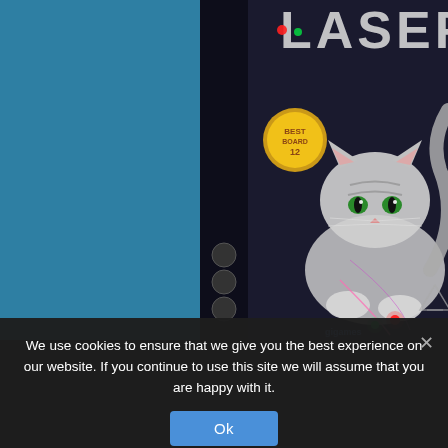[Figure (photo): Product box for 'Laser' board game featuring a kitten on a dark background with laser dots, partially visible on the right side of a teal background. The box shows the game title 'LASER' in large letters, a cat crouching and looking at laser dots, game info icons on the side, and a gold award badge.]
We use cookies to ensure that we give you the best experience on our website. If you continue to use this site we will assume that you are happy with it.